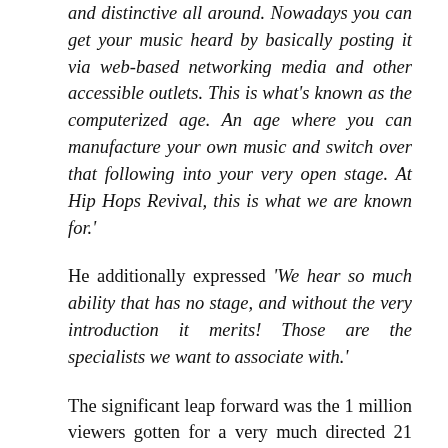and distinctive all around. Nowadays you can get your music heard by basically posting it via web-based networking media and other accessible outlets. This is what's known as the computerized age. An age where you can manufacture your own music and switch over that following into your very open stage. At Hip Hops Revival, this is what we are known for.'
He additionally expressed 'We hear so much ability that has no stage, and without the very introduction it merits! Those are the specialists we want to associate with.'
The significant leap forward was the 1 million viewers gotten for a very much directed 21 Savage meeting. Notwithstanding, the 21 Savage meeting, the site, www.hiphopsrevival.com likewise directed meetings with top level craftsmen in their industry, for example, Boosie Badazz, Blac Youngsta, Young Dolph, and that's just the beginning.
The originator CEO Ray Goodwin, has unquestionably made